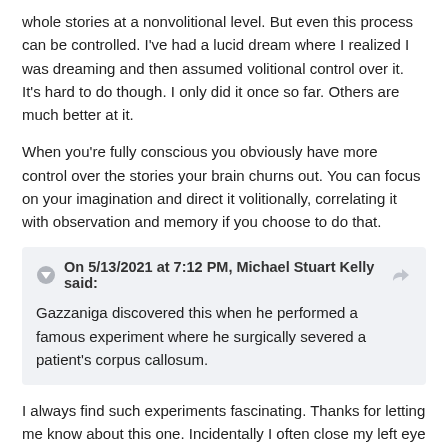whole stories at a nonvolitional level. But even this process can be controlled. I've had a lucid dream where I realized I was dreaming and then assumed volitional control over it. It's hard to do though. I only did it once so far. Others are much better at it.
When you're fully conscious you obviously have more control over the stories your brain churns out. You can focus on your imagination and direct it volitionally, correlating it with observation and memory if you choose to do that.
On 5/13/2021 at 7:12 PM, Michael Stuart Kelly said: Gazzaniga discovered this when he performed a famous experiment where he surgically severed a patient's corpus callosum.
I always find such experiments fascinating. Thanks for letting me know about this one. Incidentally I often close my left eye while reading. I chalked it up to my poorer eyesight in the left eye, but maybe it has something to do with not wanting to fill my head with stories of chicken shit.